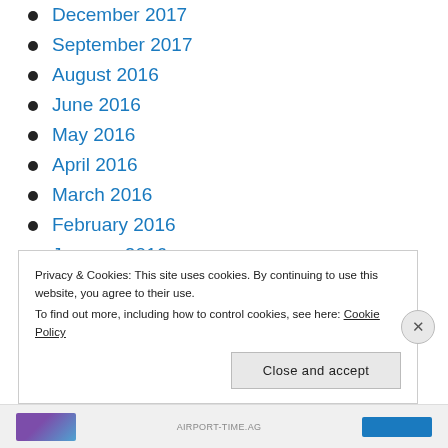December 2017
September 2017
August 2016
June 2016
May 2016
April 2016
March 2016
February 2016
January 2016
December 2015
Privacy & Cookies: This site uses cookies. By continuing to use this website, you agree to their use.
To find out more, including how to control cookies, see here: Cookie Policy
AIRPORT-TIME.AG